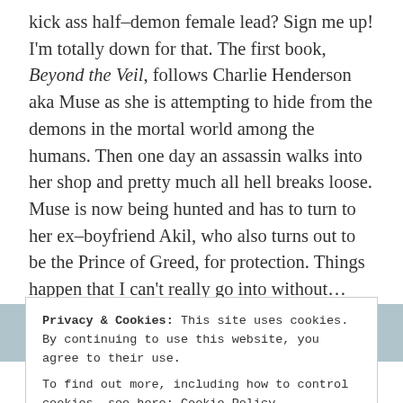kick ass half-demon female lead? Sign me up! I'm totally down for that. The first book, Beyond the Veil, follows Charlie Henderson aka Muse as she is attempting to hide from the demons in the mortal world among the humans. Then one day an assassin walks into her shop and pretty much all hell breaks loose. Muse is now being hunted and has to turn to her ex-boyfriend Akil, who also turns out to be the Prince of Greed, for protection. Things happen that I can't really go into without...well spoilers so I won't, and Muse is left trying to figure who she can trust. This first installment to the series is packed with
Privacy & Cookies: This site uses cookies. By continuing to use this website, you agree to their use.
To find out more, including how to control cookies, see here: Cookie Policy
triangle and yes the main character is not always